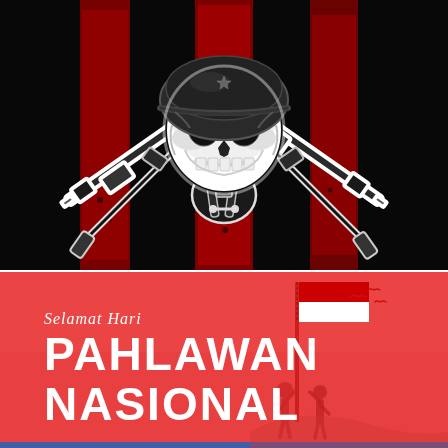[Figure (illustration): Dark military-themed illustration on black background with red vertical stripe pattern. A skull wearing a military helmet with crossed rifles/guns below it, rendered in white with black outlines. Red distressed vertical stripes behind the figure, creating a flag-like background.]
[Figure (illustration): Indonesian Heroes' Day (Hari Pahlawan Nasional) graphic on red background. Script text 'Selamat Hari' above bold white text 'PAHLAWAN NASIONAL'. Right side shows silhouettes of people raising the Indonesian flag (red and white) with birds flying.]